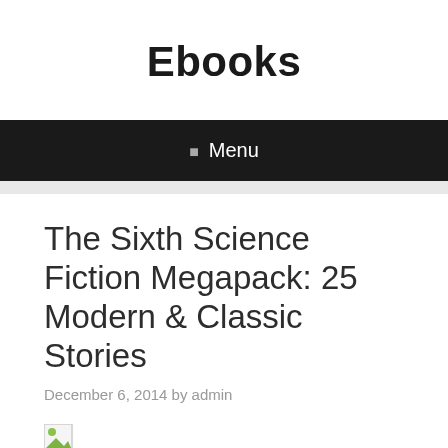Ebooks
☰ Menu
The Sixth Science Fiction Megapack: 25 Modern & Classic Stories
December 6, 2014 by admin
[Figure (photo): Broken/missing image placeholder icon]